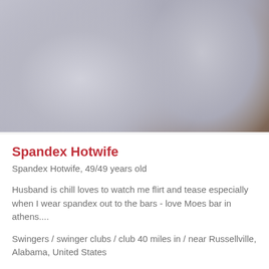[Figure (photo): Close-up photo of a person wearing light gray/lavender spandex pants, with a wooden furniture piece visible in the background.]
Spandex Hotwife
Spandex Hotwife, 49/49 years old
Husband is chill loves to watch me flirt and tease especially when I wear spandex out to the bars - love Moes bar in athens....
Swingers / swinger clubs / club 40 miles in / near Russellville, Alabama, United States